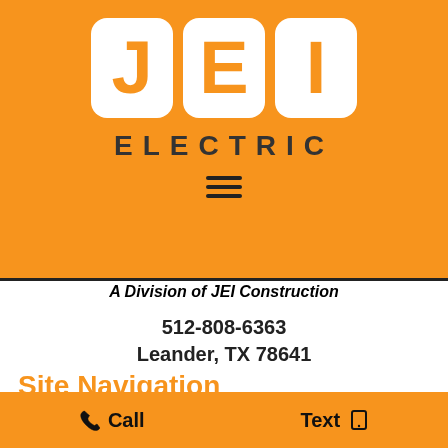[Figure (logo): JEI Electric logo: three white rounded-rectangle tiles each containing an orange letter J, E, I on an orange background, with 'ELECTRIC' in bold dark text below and a hamburger menu icon]
A Division of JEI Construction
512-808-6363
Leander, TX 78641
Site Navigation
Call    Text